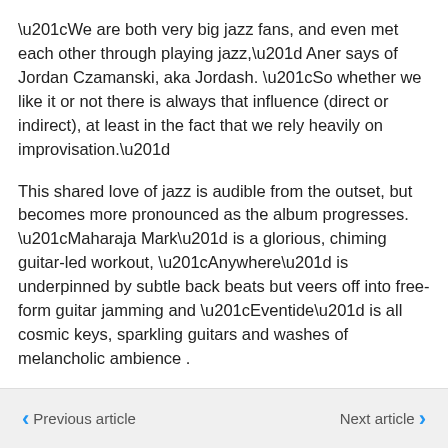“We are both very big jazz fans, and even met each other through playing jazz,” Aner says of Jordan Czamanski, aka Jordash. “So whether we like it or not there is always that influence (direct or indirect), at least in the fact that we rely heavily on improvisation.”
This shared love of jazz is audible from the outset, but becomes more pronounced as the album progresses. “Maharaja Mark” is a glorious, chiming guitar-led workout, “Anywhere” is underpinned by subtle back beats but veers off into free-form guitar jamming and “Eventide” is all cosmic keys, sparkling guitars and washes of melancholic ambience .
Did the jazz influence feed into the album’s free-form
Previous article   Next article